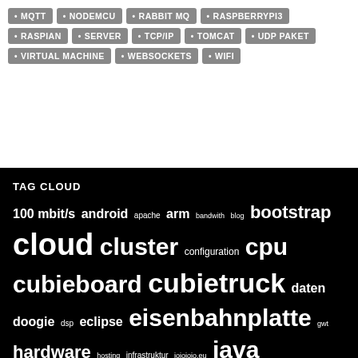MQTT • NODEMCU • RABBIT MQ • RASPBERRYPI3 • RASPIAN • SERVER • TCP/IP • TOMCAT • UDP PAKET • VIRTUAL MACHINE • WEBSOCKETS • WIFI
TAG CLOUD
100 mbit/s android apache arm bandwith blog bootstrap cloud cluster configuration cpu cubieboard cubietruck daten doogie dsp eclipse eisenbahnplatte gwt hardware hosting infrastruktur ioioioio.eu java javascript layer mukke node php plugin provider redirect root-server round-robbin script sd card server servlet stream streaming subwoofer tomcat traffic webserver weiterleitung